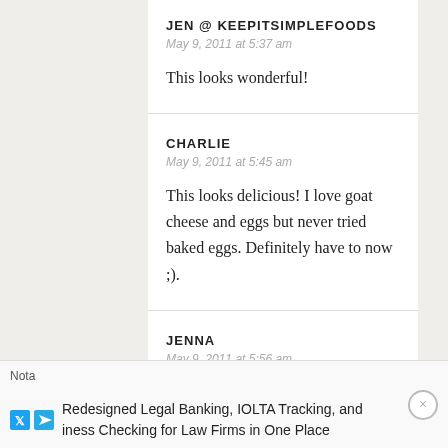JEN @ KEEPITSIMPLEFOODS
May 9, 2011 at 5:37 am
This looks wonderful!
CHARLIE
May 9, 2011 at 5:45 am
This looks delicious! I love goat cheese and eggs but never tried baked eggs. Definitely have to now ;).
JENNA
May 9, 2011 at 5:56 am
yummyll this looks great! I hope youre having
Nota
Redesigned Legal Banking, IOLTA Tracking, and iness Checking for Law Firms in One Place